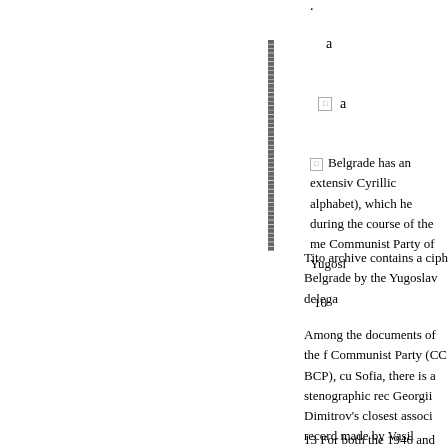·
a
a
Belgrade has an extensive Cyrillic alphabet), which he during the course of the me Communist Party of Yugosl Tito archive contains a ciph Belgrade by the Yugoslav delega
10
Among the documents of the f Communist Party (CC BCP), cu Sofia, there is a stenographic rec Georgii Dimitrov's closest associ record made by Vasil Kolarov, a a repetition of Kostov's stenogra exception of a few stylistic corre Soviet record of the 10 February (but which is not printed below), Valerian Zorin, who attended the
13 For both the 1946 and 1948 compatible and sometimes almos